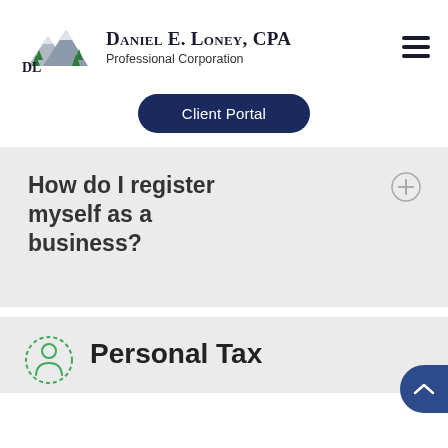[Figure (logo): Daniel E. Loney CPA Professional Corporation logo with mountain/tree illustration and DL initials]
Daniel E. Loney, CPA Professional Corporation
Client Portal
How do I register myself as a business?
Personal Tax